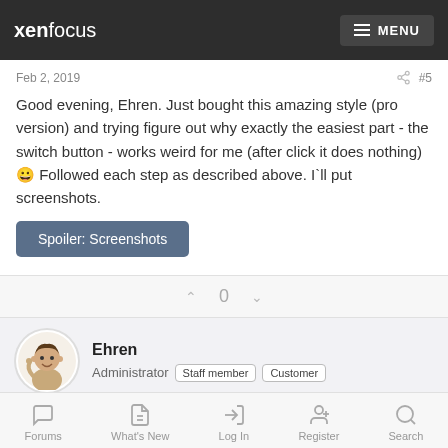xenfocus MENU
Feb 2, 2019  #5
Good evening, Ehren. Just bought this amazing style (pro version) and trying figure out why exactly the easiest part - the switch button - works weird for me (after click it does nothing) 😀 Followed each step as described above. I`ll put screenshots.
Spoiler: Screenshots
0
Ehren
Administrator
Staff member
Customer
Forums  What's New  Log In  Register  Search